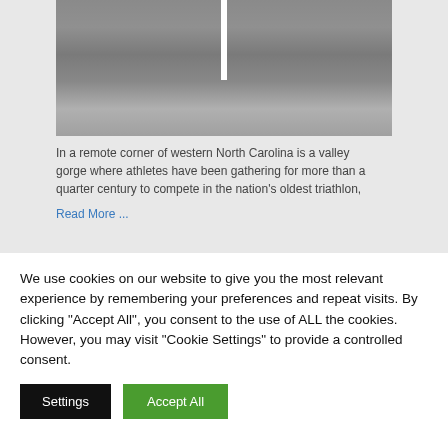[Figure (photo): A road or pavement surface viewed from above, showing a white painted line or marking. The surface is gray asphalt. This appears to be a triathlon course photo.]
In a remote corner of western North Carolina is a valley gorge where athletes have been gathering for more than a quarter century to compete in the nation's oldest triathlon, Read More ...
Competitor Quotes
We use cookies on our website to give you the most relevant experience by remembering your preferences and repeat visits. By clicking "Accept All", you consent to the use of ALL the cookies. However, you may visit "Cookie Settings" to provide a controlled consent.